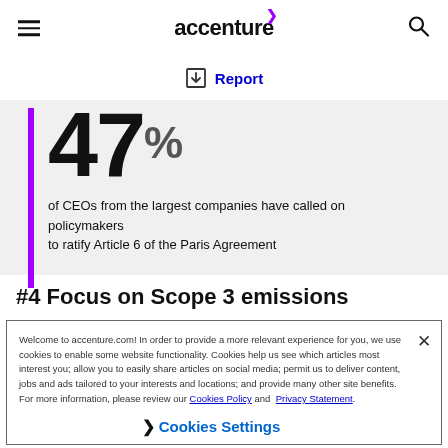Accenture navigation bar with hamburger menu, Accenture logo, and search icon
↓ Report
[Figure (infographic): Large bold text showing '47%' with a purple left border bar on a light grey background, followed by text: of CEOs from the largest companies have called on policymakers to ratify Article 6 of the Paris Agreement]
#4 Focus on Scope 3 emissions
Welcome to accenture.com! In order to provide a more relevant experience for you, we use cookies to enable some website functionality. Cookies help us see which articles most interest you; allow you to easily share articles on social media; permit us to deliver content, jobs and ads tailored to your interests and locations; and provide many other site benefits. For more information, please review our Cookies Policy and Privacy Statement.
❯ Cookies Settings